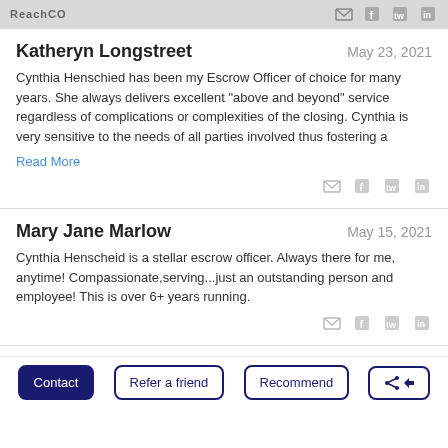ReachCO
Katheryn Longstreet
May 23, 2021
Cynthia Henschied has been my Escrow Officer of choice for many years. She always delivers excellent "above and beyond" service regardless of complications or complexities of the closing. Cynthia is very sensitive to the needs of all parties involved thus fostering a
Read More
Mary Jane Marlow
May 15, 2021
Cynthia Henscheid is a stellar escrow officer. Always there for me, anytime! Compassionate,serving...just an outstanding person and employee! This is over 6+ years running.
Julie Trout
May 12, 2021
Highly recommend Cynthia Henscheid, she always answers her
Contact | Refer a friend | Recommend | Share